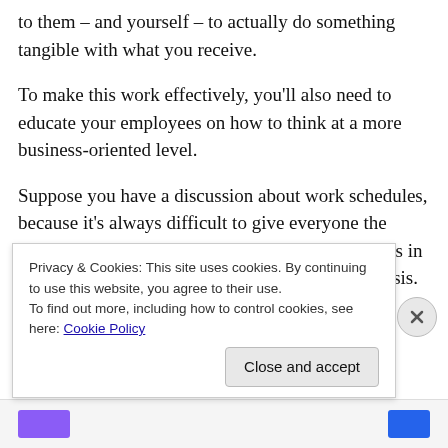to them – and yourself – to actually do something tangible with what you receive.
To make this work effectively, you'll also need to educate your employees on how to think at a more business-oriented level.
Suppose you have a discussion about work schedules, because it's always difficult to give everyone the hours that they'd like. One of your workers chimes in that work hours should be done on a volunteer basis. Of course, everybody else loves that idea because they imagine how
Privacy & Cookies: This site uses cookies. By continuing to use this website, you agree to their use.
To find out more, including how to control cookies, see here: Cookie Policy
Close and accept